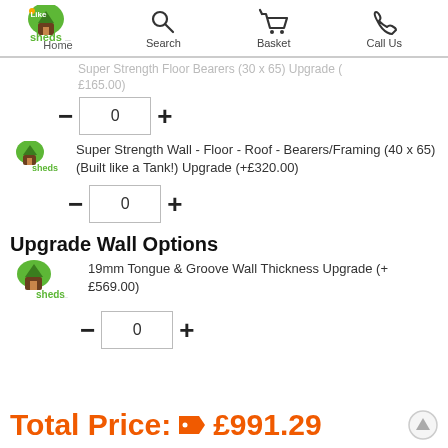Home | Search | Basket | Call Us
Super Strength Floor Bearers (30 x 65) Upgrade (+£165.00)
Super Strength Wall - Floor - Roof - Bearers/Framing (40 x 65) (Built like a Tank!) Upgrade (+£320.00)
Upgrade Wall Options
19mm Tongue & Groove Wall Thickness Upgrade (+£569.00)
Total Price: £991.29